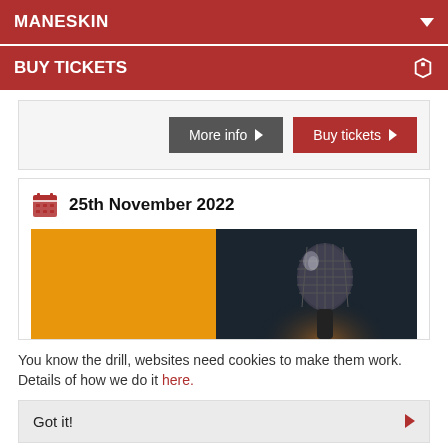MANESKIN
BUY TICKETS
More info  Buy tickets
25th November 2022
[Figure (photo): Concert microphone photo with orange and dark background split]
You know the drill, websites need cookies to make them work. Details of how we do it here.
Got it!